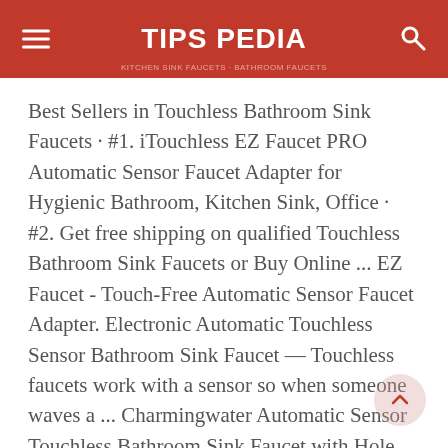TIPS PEDIA
Best Sellers in Touchless Bathroom Sink Faucets · #1. iTouchless EZ Faucet PRO Automatic Sensor Faucet Adapter for Hygienic Bathroom, Kitchen Sink, Office · #2. Get free shipping on qualified Touchless Bathroom Sink Faucets or Buy Online ... EZ Faucet - Touch-Free Automatic Sensor Faucet Adapter. Electronic Automatic Touchless Sensor Bathroom Sink Faucet — Touchless faucets work with a sensor so when someone waves a ... Charmingwater Automatic Sensor Touchless Bathroom Sink Faucet with Hole Cover Plate, Chrome Vanity Faucets, Hands Free Bathroom Water Tap with ...